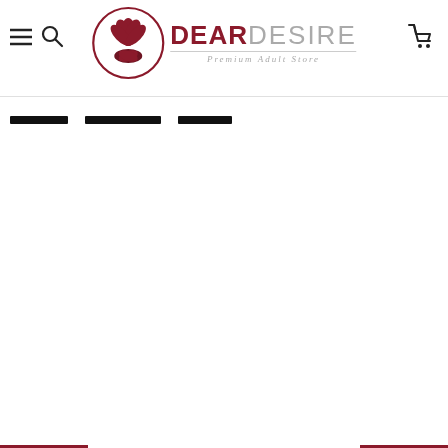[Figure (logo): Dear Desire Premium Adult Store logo with a lotus flower in a dark red circle and brand name text]
breadcrumb navigation links (three underlined items)